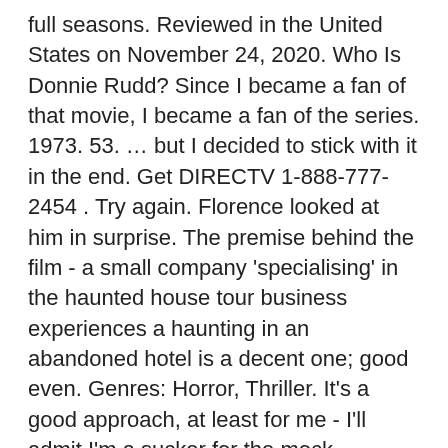full seasons. Reviewed in the United States on November 24, 2020. Who Is Donnie Rudd? Since I became a fan of that movie, I became a fan of the series. 1973. 53. … but I decided to stick with it in the end. Get DIRECTV 1-888-777-2454 . Try again. Florence looked at him in surprise. The premise behind the film - a small company 'specialising' in the haunted house tour business experiences a haunting in an abandoned hotel is a decent one; good even. Genres: Horror, Thriller. It's a good approach, at least for me - I'll admit I'm a sucker for the mock documentary format. Prime members enjoy fast & free shipping, unlimited streaming of movies and TV shows with Prime Video and many more exclusive benefits. Interestingly enough, it was the efforts of the much maligned Hell House crew member, Paul, that generated for me, the most tension and one of the best hiding from the...